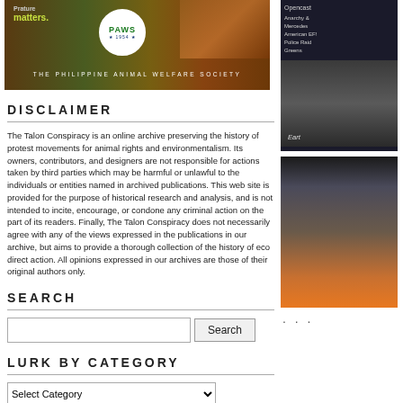[Figure (photo): PAWS - The Philippine Animal Welfare Society banner with animals and logo]
DISCLAIMER
The Talon Conspiracy is an online archive preserving the history of protest movements for animal rights and environmentalism. Its owners, contributors, and designers are not responsible for actions taken by third parties which may be harmful or unlawful to the individuals or entities named in archived publications. This web site is provided for the purpose of historical research and analysis, and is not intended to incite, encourage, or condone any criminal action on the part of its readers. Finally, The Talon Conspiracy does not necessarily agree with any of the views expressed in the publications in our archive, but aims to provide a thorough collection of the history of eco direct action. All opinions expressed in our archives are those of their original authors only.
SEARCH
LURK BY CATEGORY
[Figure (photo): Opencast book cover with text Anarchy & Mercedes, American EF!, Police Raid, Greens and a black and white protest photo]
[Figure (photo): Earth First! related photo showing crowd/protest scene with fire]
...